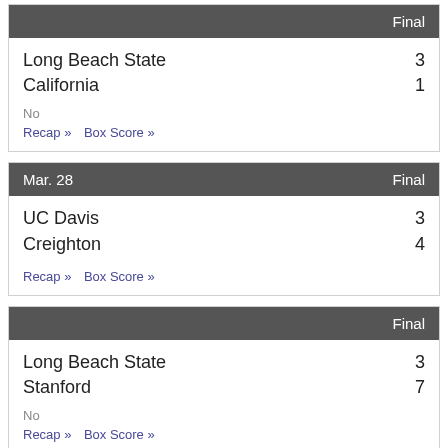| Team | Final |
| --- | --- |
| Long Beach State | 3 |
| California | 1 |
No
Recap» Box Score»
| Mar. 28 | Final |
| --- | --- |
| UC Davis | 3 |
| Creighton | 4 |
Recap» Box Score»
|  | Final |
| --- | --- |
| Long Beach State | 3 |
| Stanford | 7 |
No
Recap» Box Score»